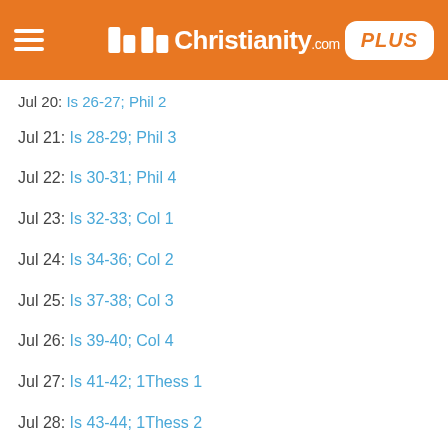Christianity.com PLUS
Jul 20: Is 26-27; Phil 2
Jul 21: Is 28-29; Phil 3
Jul 22: Is 30-31; Phil 4
Jul 23: Is 32-33; Col 1
Jul 24: Is 34-36; Col 2
Jul 25: Is 37-38; Col 3
Jul 26: Is 39-40; Col 4
Jul 27: Is 41-42; 1Thess 1
Jul 28: Is 43-44; 1Thess 2
Jul 29: Is 45-46; 1Thess 3
Jul 30: Is 47-49; 1Thess 4
Jul 31: Is 50-52; 1Thess 5
Aug 1: Is 53-55; 2Thess 1